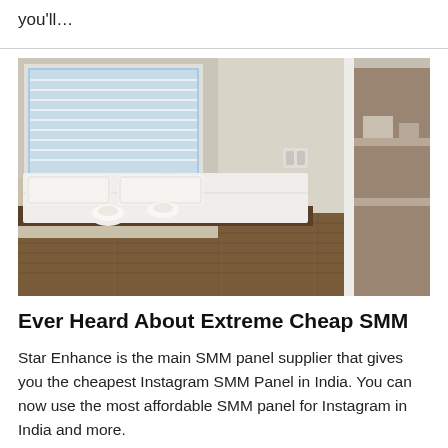you'll…
[Figure (photo): Interior photo of a small hotel or serviced apartment bedroom with a low platform bed with white bedding, two rolled white towels on the mattress, two white pillows, a window with white blinds on the left, beige/cream walls, wood-effect flooring, a power outlet on the wall, and an open doorway/wardrobe visible on the right side.]
Ever Heard About Extreme Cheap SMM
Star Enhance is the main SMM panel supplier that gives you the cheapest Instagram SMM Panel in India. You can now use the most affordable SMM panel for Instagram in India and more.